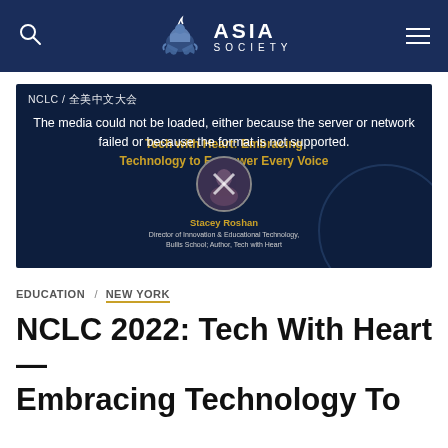Asia Society
[Figure (screenshot): Dark blue video thumbnail showing NCLC / 全美中文大会 branding with golden text 'Tech with Heart: Embracing Technology to Empower Every Voice', a circular profile photo of Stacey Roshan, and a browser media error overlay: 'The media could not be loaded, either because the server or network failed or because the format is not supported.']
EDUCATION / NEW YORK
NCLC 2022: Tech With Heart — Embracing Technology To